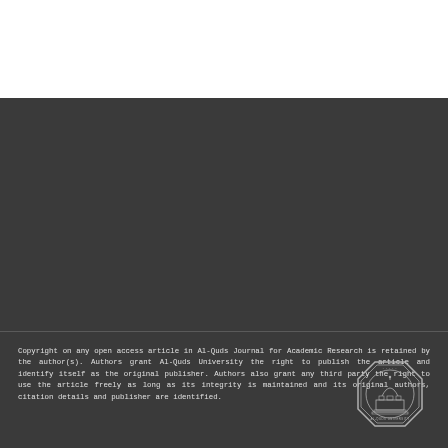Copyright on any open access article in Al-Quds Journal for Academic Research is retained by the author(s). Authors grant Al-Quds University the right to publish the article and identify itself as the original publisher. Authors also grant any third party the right to use the article freely as long as its integrity is maintained and its original authors, citation details and publisher are identified.
[Figure (logo): Al-Quds University circular seal/logo in light gray on dark background, octagonal border with dome building illustration and text around the perimeter]